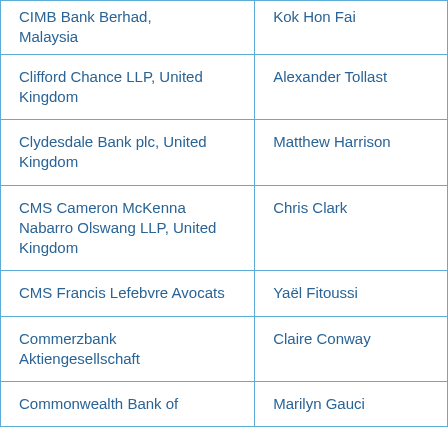| Organization | Contact |
| --- | --- |
| CIMB Bank Berhad, Malaysia | Kok Hon Fai |
| Clifford Chance LLP, United Kingdom | Alexander Tollast |
| Clydesdale Bank plc, United Kingdom | Matthew Harrison |
| CMS Cameron McKenna Nabarro Olswang LLP, United Kingdom | Chris Clark |
| CMS Francis Lefebvre Avocats | Yaël Fitoussi |
| Commerzbank Aktiengesellschaft | Claire Conway |
| Commonwealth Bank of | Marilyn Gauci |